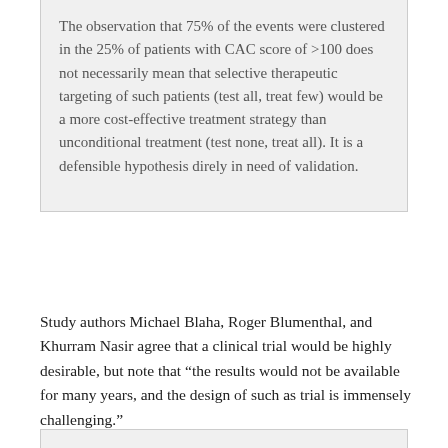The observation that 75% of the events were clustered in the 25% of patients with CAC score of >100 does not necessarily mean that selective therapeutic targeting of such patients (test all, treat few) would be a more cost-effective treatment strategy than unconditional treatment (test none, treat all). It is a defensible hypothesis direly in need of validation.
Study authors Michael Blaha, Roger Blumenthal, and Khurram Nasir agree that a clinical trial would be highly desirable, but note that “the results would not be available for many years, and the design of such as trial is immensely challenging.”